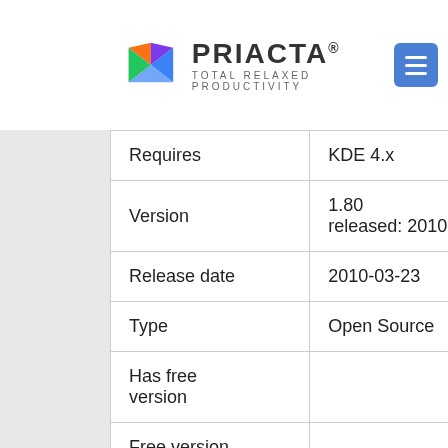PRIACTA® TOTAL RELAXED PRODUCTIVITY
|  |  |  |
| --- | --- | --- |
| Requires | KDE 4.x |  |
| Version | 1.80
released: 2010-03-23 | released: |
| Release date | 2010-03-23 | 2010-04-2 |
| Type | Open Source | Commerc |
| Has free version | ✓ |  |
| Free version notes |  | Free 5 pro
trial |
| A paid version is | ☐ |  |